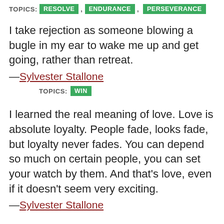TOPICS: RESOLVE , ENDURANCE , PERSEVERANCE
I take rejection as someone blowing a bugle in my ear to wake me up and get going, rather than retreat.
—Sylvester Stallone
TOPICS: WIN
I learned the real meaning of love. Love is absolute loyalty. People fade, looks fade, but loyalty never fades. You can depend so much on certain people, you can set your watch by them. And that's love, even if it doesn't seem very exciting.
—Sylvester Stallone